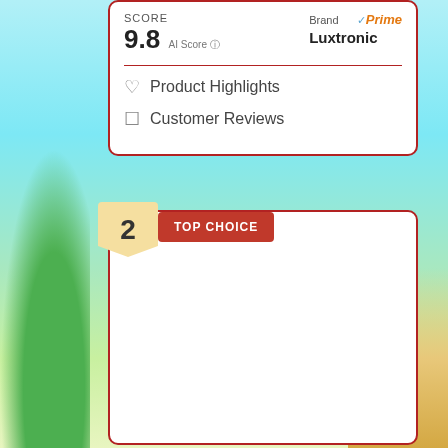SCORE
9.8 AI Score
Brand Luxtronic Prime
♡ Product Highlights
☐ Customer Reviews
2 TOP CHOICE